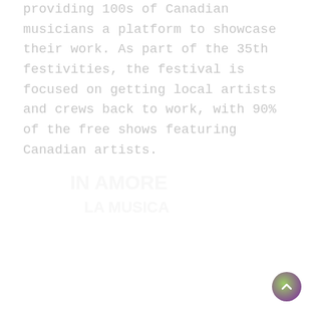providing 100s of Canadian musicians a platform to showcase their work. As part of the 35th festivities, the festival is focused on getting local artists and crews back to work, with 90% of the free shows featuring Canadian artists.
[Figure (illustration): Faint watermark-like text or logo image in the lower center area of the page, very low opacity.]